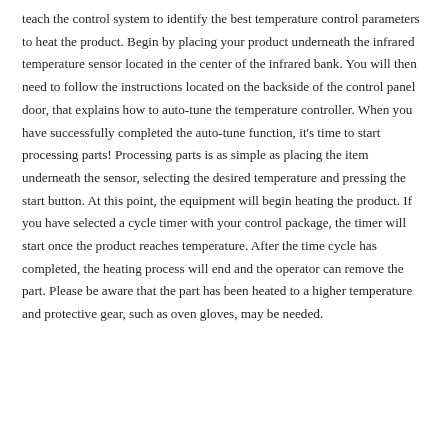teach the control system to identify the best temperature control parameters to heat the product. Begin by placing your product underneath the infrared temperature sensor located in the center of the infrared bank. You will then need to follow the instructions located on the backside of the control panel door, that explains how to auto-tune the temperature controller. When you have successfully completed the auto-tune function, it's time to start processing parts! Processing parts is as simple as placing the item underneath the sensor, selecting the desired temperature and pressing the start button. At this point, the equipment will begin heating the product. If you have selected a cycle timer with your control package, the timer will start once the product reaches temperature. After the time cycle has completed, the heating process will end and the operator can remove the part. Please be aware that the part has been heated to a higher temperature and protective gear, such as oven gloves, may be needed.